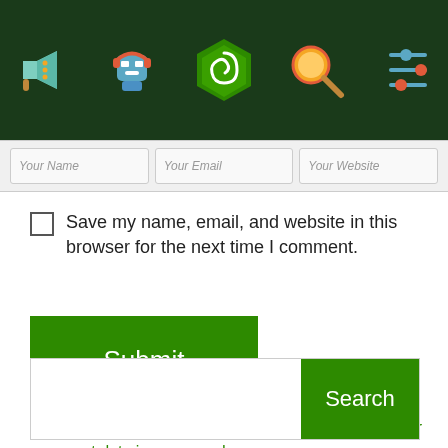[Figure (illustration): Dark green navigation bar with five colorful icons: a megaphone/speaker, a robot/character with headphones, a green hexagonal swirl logo, a magnifying glass, and a settings/filter icon.]
Your Name   Your Email   Your Website
Save my name, email, and website in this browser for the next time I comment.
Submit
This site uses Akismet to reduce spam. Learn how your comment data is processed.
Search